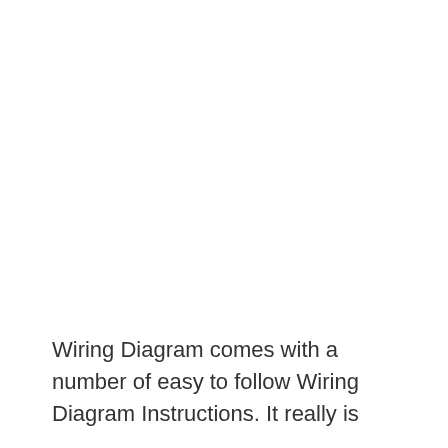Wiring Diagram comes with a number of easy to follow Wiring Diagram Instructions. It really is